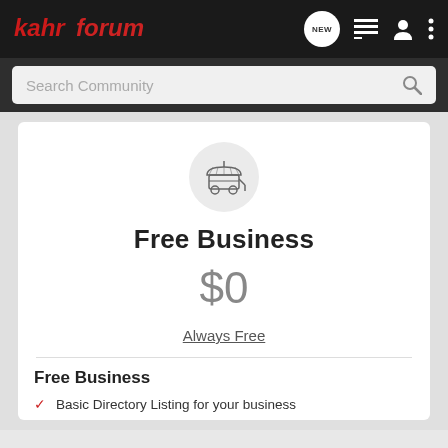[Figure (logo): KahrForum logo in red italic text on dark navbar, with navigation icons including NEW bubble, list icon, user icon, and dots menu]
[Figure (screenshot): Search Community search bar on dark background with magnifying glass icon]
[Figure (infographic): Market stall / vendor cart icon in a light grey circle]
Free Business
$0
Always Free
Free Business
Basic Directory Listing for your business